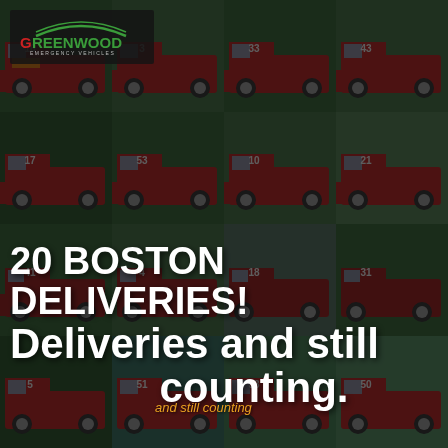[Figure (photo): Grid of 16 red fire truck photos arranged in a 4x4 layout, dark overlay on top, serving as background]
[Figure (logo): Greenwood Emergency Vehicles logo in top left, green text with arc graphic above]
20 BOSTON DELIVERIES! Deliveries and still counting.
and still counting